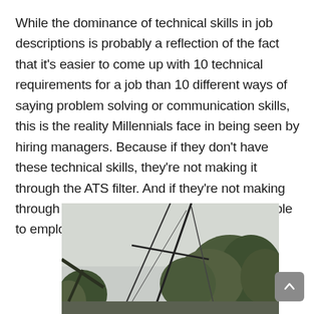While the dominance of technical skills in job descriptions is probably a reflection of the fact that it's easier to come up with 10 technical requirements for a job than 10 different ways of saying problem solving or communication skills, this is the reality Millennials face in being seen by hiring managers. Because if they don't have these technical skills, they're not making it through the ATS filter. And if they're not making through the ATS filter, they're effectively invisible to employers.
[Figure (photo): Outdoor photo showing tree branches and what appears to be a sailing mast or pole against a grey sky with trees in the background]